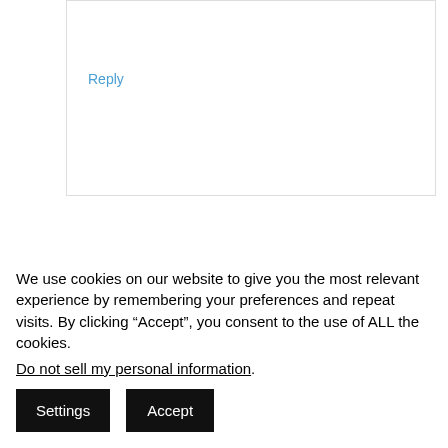Reply
[Figure (illustration): Circular avatar with green background showing a pixel art purple robot/character]
Gary Green
November 10, 2012 at 10:01 pm
We use cookies on our website to give you the most relevant experience by remembering your preferences and repeat visits. By clicking “Accept”, you consent to the use of ALL the cookies.
Do not sell my personal information.
Settings
Accept